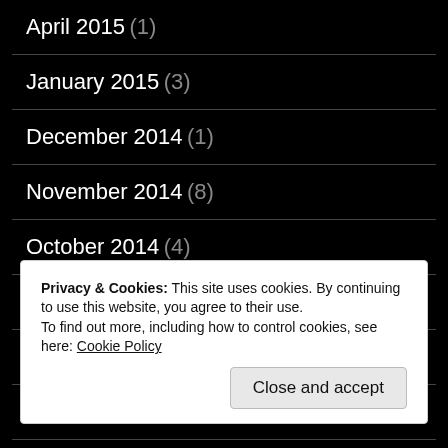April 2015 (1)
January 2015 (3)
December 2014 (1)
November 2014 (8)
October 2014 (4)
September 2014 (2)
August 2014 (3)
July 2014 (1)
Privacy & Cookies: This site uses cookies. By continuing to use this website, you agree to their use.
To find out more, including how to control cookies, see here: Cookie Policy
Close and accept